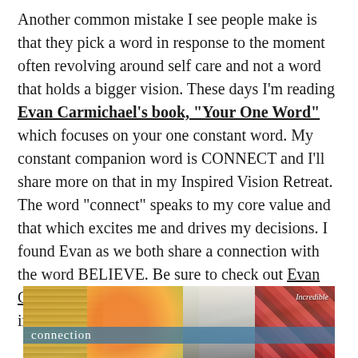Another common mistake I see people make is that they pick a word in response to the moment often revolving around self care and not a word that holds a bigger vision. These days I'm reading Evan Carmichael's book, "Your One Word" which focuses on your one constant word. My constant companion word is CONNECT and I'll share more on that in my Inspired Vision Retreat. The word "connect" speaks to my core value and that which excites me and drives my decisions. I found Evan as we both share a connection with the word BELIEVE. Be sure to check out Evan Carmichael's YouTube channel for heaps of inspiration.
I hope you'll want to play with words and create dream wheels with me in 2018!
[Figure (photo): A collage photo showing candles, citrus fruits, a white wolf or polar animal, and a colorful woven tapestry. Text overlay reads 'Incredible' and 'connection' on a blue banner.]